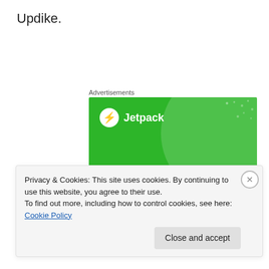Updike.
Advertisements
[Figure (screenshot): Jetpack advertisement banner with green background showing logo, 'We guard your WordPress site. You run your business.' text]
Privacy & Cookies: This site uses cookies. By continuing to use this website, you agree to their use.
To find out more, including how to control cookies, see here: Cookie Policy
Close and accept